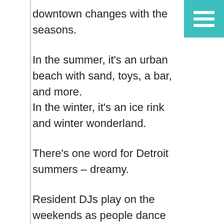downtown changes with the seasons.
[Figure (other): Teal hamburger menu button in top right corner]
In the summer, it’s an urban beach with sand, toys, a bar, and more.
In the winter, it’s an ice rink and winter wonderland.
There’s one word for Detroit summers – dreamy.
Resident DJs play on the weekends as people dance and vibe out to the music by the beach. The city is so alive and will engulf you right into its chill atmosphere. We’ve visited Campus Martius both on summer weekends and during the week. Although the crowd differs greatly between the two times the consistent